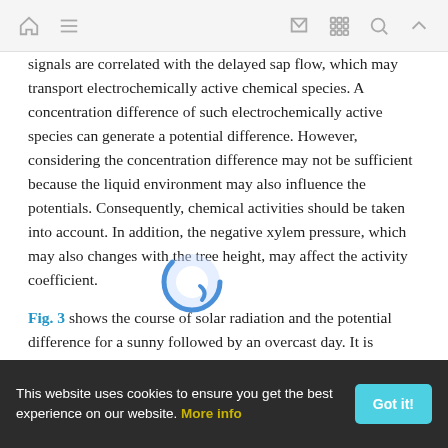Navigation bar with home, menu, email, grid, search, and up icons
signals are correlated with the delayed sap flow, which may transport electrochemically active chemical species. A concentration difference of such electrochemically active species can generate a potential difference. However, considering the concentration difference may not be sufficient because the liquid environment may also influence the potentials. Consequently, chemical activities should be taken into account. In addition, the negative xylem pressure, which may also changes with the tree height, may affect the activity coefficient.
Fig. 3 shows the course of solar radiation and the potential difference for a sunny followed by an overcast day. It is obvious that the measured electrochemical potential
This website uses cookies to ensure you get the best experience on our website. More info | Got it!